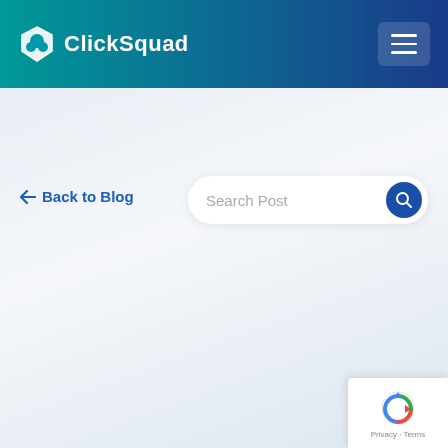ClickSquad
← Back to Blog
[Figure (screenshot): Search Post input bar with magnifying glass button]
[Figure (logo): reCAPTCHA badge with Privacy - Terms links]